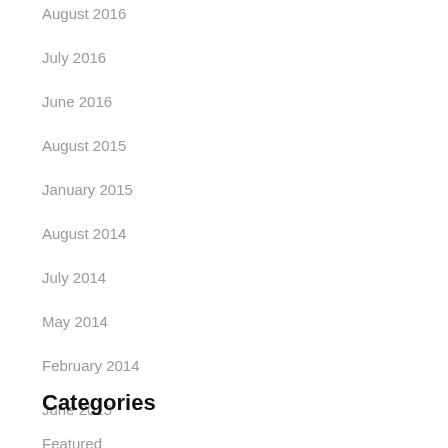August 2016
July 2016
June 2016
August 2015
January 2015
August 2014
July 2014
May 2014
February 2014
June 2013
April 2013
February 2013
Categories
Featured